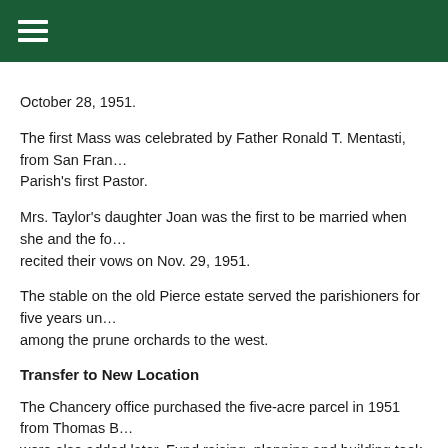October 28, 1951.
The first Mass was celebrated by Father Ronald T. Mentasti, from San Francisco, the Parish's first Pastor.
Mrs. Taylor's daughter Joan was the first to be married when she and the fo… recited their vows on Nov. 29, 1951.
The stable on the old Pierce estate served the parishioners for five years un… among the prune orchards to the west.
Transfer to New Location
The Chancery office purchased the five-acre parcel in 1951 from Thomas B… were also added later. Fund raising, planning and building took five years.
Father Mentasti said that they were all waiting for the first building and…